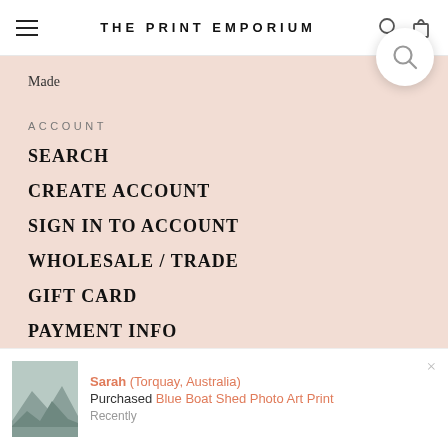THE PRINT EMPORIUM
Made
ACCOUNT
SEARCH
CREATE ACCOUNT
SIGN IN TO ACCOUNT
WHOLESALE / TRADE
GIFT CARD
PAYMENT INFO
Sarah (Torquay, Australia) Purchased Blue Boat Shed Photo Art Print Recently